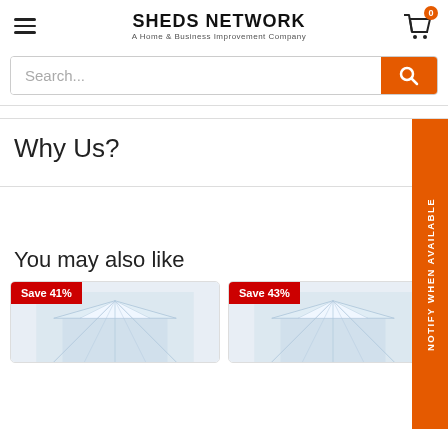SHEDS NETWORK — A Home & Business Improvement Company
Search...
Why Us?
You may also like
Save 41%
Save 43%
[Figure (photo): Greenhouse product image]
[Figure (photo): Greenhouse product image]
NOTIFY WHEN AVAILABLE